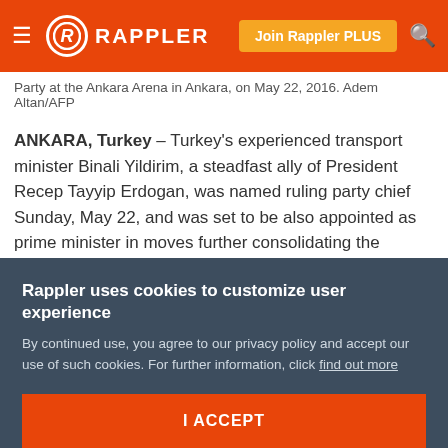≡  R  RAPPLER   Join Rappler PLUS  🔍
Party at the Ankara Arena in Ankara, on May 22, 2016. Adem Altan/AFP
ANKARA, Turkey – Turkey's experienced transport minister Binali Yildirim, a steadfast ally of President Recep Tayyip Erdogan, was named ruling party chief Sunday, May 22, and was set to be also appointed as prime minister in moves further consolidating the Turkish strongman's grip on power.
Yildirim, 60, vowed at an extraordinary ruling party congress that anointed him to make a priority out of
Rappler uses cookies to customize user experience
By continued use, you agree to our privacy policy and accept our use of such cookies. For further information, click find out more
I ACCEPT